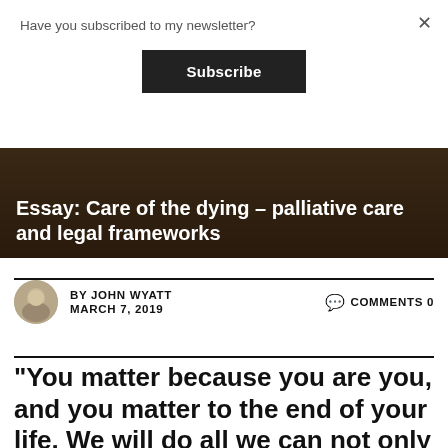Have you subscribed to my newsletter?
Subscribe
Essay: Care of the dying – palliative care and legal frameworks
BY JOHN WYATT  MARCH 7, 2019  COMMENTS 0
“You matter because you are you, and you matter to the end of your life. We will do all we can not only to help you die peacefully, but